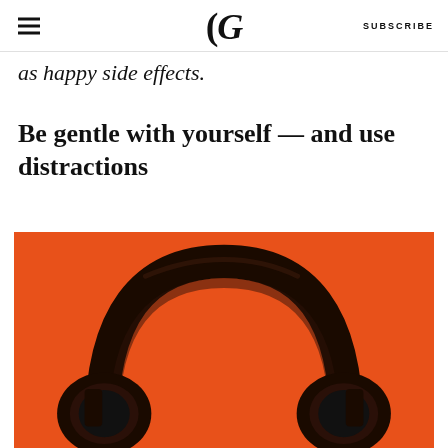G  SUBSCRIBE
as happy side effects.
Be gentle with yourself — and use distractions
[Figure (photo): Black over-ear headphones photographed against a vivid orange background, viewed from the front slightly above, showing the headband and ear cups.]